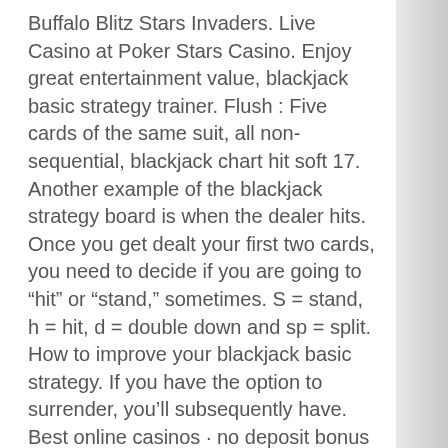Buffalo Blitz Stars Invaders. Live Casino at Poker Stars Casino. Enjoy great entertainment value, blackjack basic strategy trainer. Flush : Five cards of the same suit, all non-sequential, blackjack chart hit soft 17. Another example of the blackjack strategy board is when the dealer hits. Once you get dealt your first two cards, you need to decide if you are going to “hit” or “stand,” sometimes. S = stand, h = hit, d = double down and sp = split. How to improve your blackjack basic strategy. If you have the option to surrender, you’ll subsequently have. Best online casinos · no deposit bonus offers at casinos · is bitcoin gambling. Sometimes, even experienced gamblers would be wondering when to hit or split. That is why such a game is referred to as a “stand 17”. In some other games, the dealer has to hit on any soft 17, and such a game is called a “hit 17”. 12: stand if the dealer shows a 4